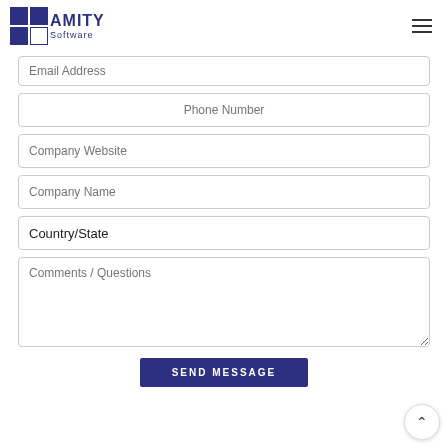[Figure (logo): Amity Software logo with dark blue grid icon and text]
Email Address
Phone Number
Company Website
Company Name
Country/State
Comments / Questions
SEND MESSAGE